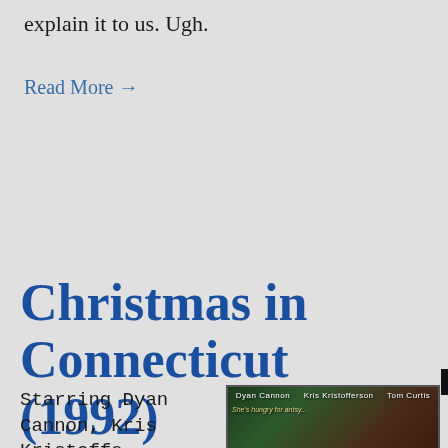explain it to us. Ugh.
Read More →
[Figure (other): Small black square icon/button element]
Christmas in Connecticut (1992)
Starring Dyan Cannon, Kris Kristoffer...
[Figure (photo): Movie poster for Christmas in Connecticut (1992) featuring Dyan Cannon, Kris Kristofferson, Tom Curtis with tagline 'She's hungry for antsy...']